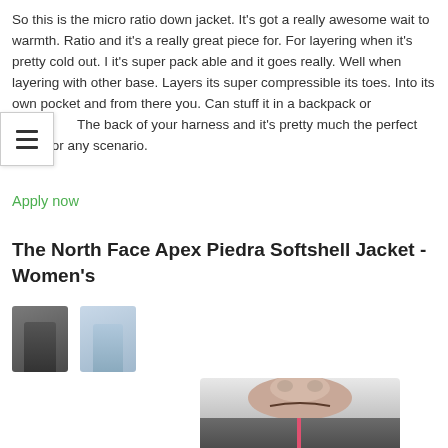So this is the micro ratio down jacket. It's got a really awesome wait to warmth. Ratio and it's a really great piece for. For layering when it's pretty cold out. I it's super pack able and it goes really. Well when layering with other base. Layers its super compressible its toes. Into its own pocket and from there you. Can stuff it in a backpack or clip The back of your harness and it's pretty much the perfect piece for any scenario.
Apply now
The North Face Apex Piedra Softshell Jacket - Women's
[Figure (photo): Two small thumbnail images of jackets — one dark grey and one light blue/grey — and a larger main product photo showing a woman wearing a dark grey softshell jacket with a pink zip.]